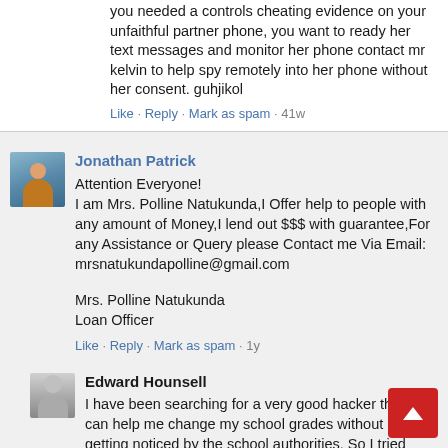you needed a controls cheating evidence on your unfaithful partner phone, you want to ready her text messages and monitor her phone contact mr kelvin to help spy remotely into her phone without her consent. guhjikol
Like · Reply · Mark as spam · 41w
Jonathan Patrick
Attention Everyone!
I am Mrs. Polline Natukunda,I Offer help to people with any amount of Money,I lend out $$$ with guarantee,For any Assistance or Query please Contact me Via Email: mrsnatukundapolline@gmail.com

Mrs. Polline Natukunda
Loan Officer
Like · Reply · Mark as spam · 1y
Edward Hounsell
I have been searching for a very good hacker that can help me change my school grades without getting noticed by the school authorities. So I tried several hackers I came in contact with but they all stopped replying my messages after I paid them. So a friend in